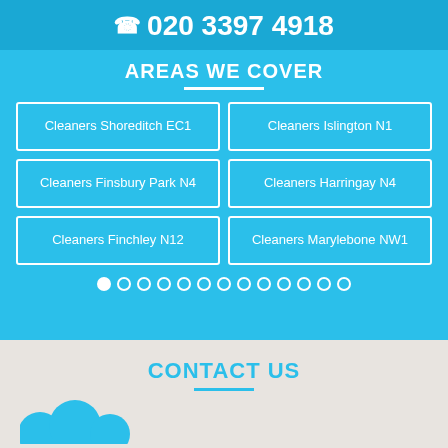020 3397 4918
AREAS WE COVER
Cleaners Shoreditch EC1
Cleaners Islington N1
Cleaners Finsbury Park N4
Cleaners Harringay N4
Cleaners Finchley N12
Cleaners Marylebone NW1
CONTACT US